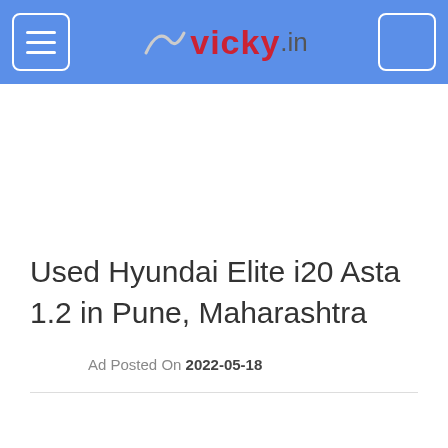vicky.in
Used Hyundai Elite i20 Asta 1.2 in Pune, Maharashtra
Ad Posted On 2022-05-18